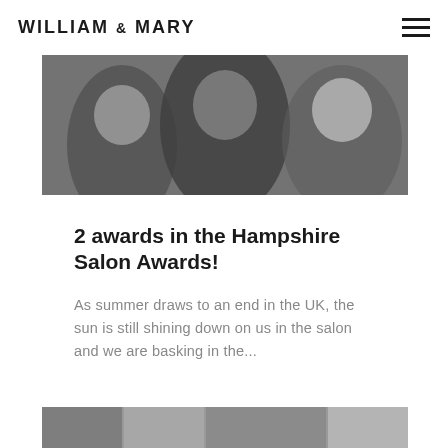WILLIAM & MARY
[Figure (photo): Black and white photo of three people laughing and smiling together, cropped at chest/shoulder level]
2 awards in the Hampshire Salon Awards!
As summer draws to an end in the UK, the sun is still shining down on us in the salon and we are basking in the...
[Figure (photo): Strip of small thumbnail photos partially visible at the bottom of the page]